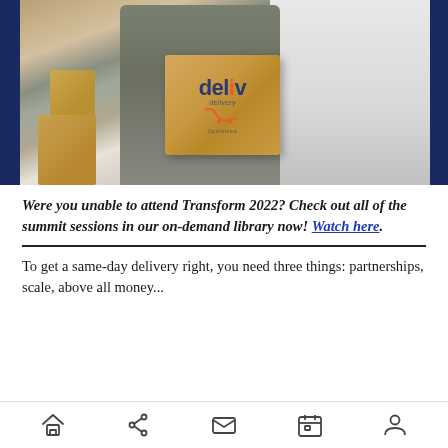[Figure (photo): A delivery person in gray uniform holding a brown cardboard box with a 'deliv' logo, standing next to a white van. Stacked boxes visible on the left.]
Were you unable to attend Transform 2022? Check out all of the summit sessions in our on-demand library now! Watch here.
To get a same-day delivery right, you need three things: partnerships, scale, above all money...